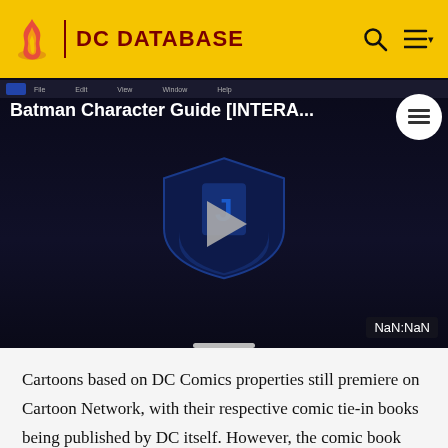DC DATABASE
[Figure (screenshot): Video player showing 'Batman Character Guide [INTERA...' with DC shield logo and play button, time display showing NaN:NaN]
Cartoons based on DC Comics properties still premiere on Cartoon Network, with their respective comic tie-in books being published by DC itself. However, the comic book license for past Cartoon Network shows later moved to